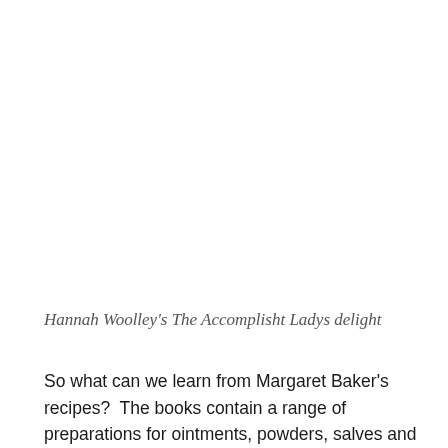Hannah Woolley's The Accomplisht Ladys delight
So what can we learn from Margaret Baker's recipes?  The books contain a range of preparations for ointments, powders, salves and cordials for a variety of medical complaints.  From these remedies we can see what diseases